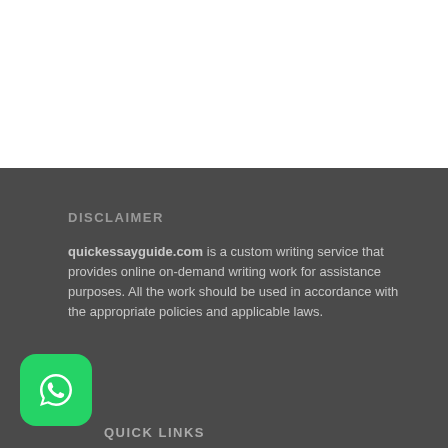DISCLAIMER
quickessayguide.com is a custom writing service that provides online on-demand writing work for assistance purposes. All the work should be used in accordance with the appropriate policies and applicable laws.
[Figure (logo): WhatsApp icon — green rounded square with white phone handset in speech bubble]
QUICK LINKS